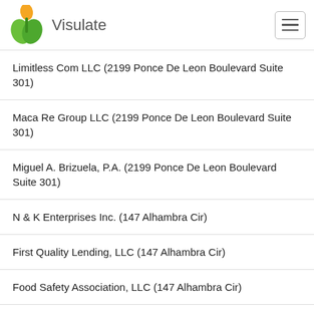Visulate
Limitless Com LLC (2199 Ponce De Leon Boulevard Suite 301)
Maca Re Group LLC (2199 Ponce De Leon Boulevard Suite 301)
Miguel A. Brizuela, P.A. (2199 Ponce De Leon Boulevard Suite 301)
N & K Enterprises Inc. (147 Alhambra Cir)
First Quality Lending, LLC (147 Alhambra Cir)
Food Safety Association, LLC (147 Alhambra Cir)
Pirulito LLC (147 Alhambra Cir)
Ciguaraya LLC (147 Alhambra Cir)
West Trade Av LLC (147 Alhambra Cir)
Arvani Building Works, LLC (147 Alhambra Cir)